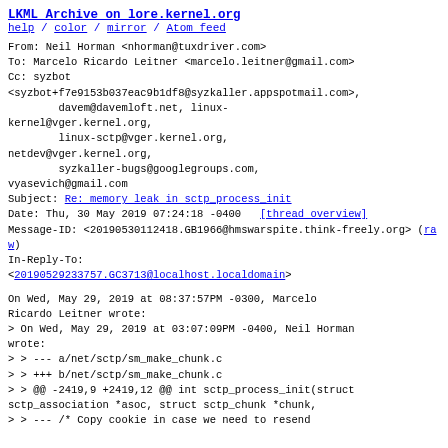LKML Archive on lore.kernel.org
help / color / mirror / Atom feed
From: Neil Horman <nhorman@tuxdriver.com>
To: Marcelo Ricardo Leitner <marcelo.leitner@gmail.com>
Cc: syzbot
<syzbot+f7e9153b037eac9b1df8@syzkaller.appspotmail.com>,
        davem@davemloft.net, linux-kernel@vger.kernel.org,
        linux-sctp@vger.kernel.org,
netdev@vger.kernel.org,
        syzkaller-bugs@googlegroups.com,
vyasevich@gmail.com
Subject: Re: memory leak in sctp_process_init
Date: Thu, 30 May 2019 07:24:18 -0400   [thread overview]
Message-ID: <20190530112418.GB1966@hmswarspite.think-freely.org> (raw)
In-Reply-To:
<20190529233757.GC3713@localhost.localdomain>
On Wed, May 29, 2019 at 08:37:57PM -0300, Marcelo Ricardo Leitner wrote:
> On Wed, May 29, 2019 at 03:07:09PM -0400, Neil Horman wrote:
> > --- a/net/sctp/sm_make_chunk.c
> > +++ b/net/sctp/sm_make_chunk.c
> > @@ -2419,9 +2419,12 @@ int sctp_process_init(struct sctp_association *asoc, struct sctp_chunk *chunk,
> > --- /* Copy cookie in case we need to resend ...